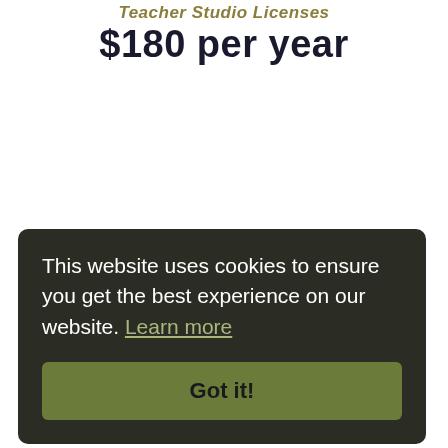$180 per year
This website uses cookies to ensure you get the best experience on our website. Learn more
Got it!